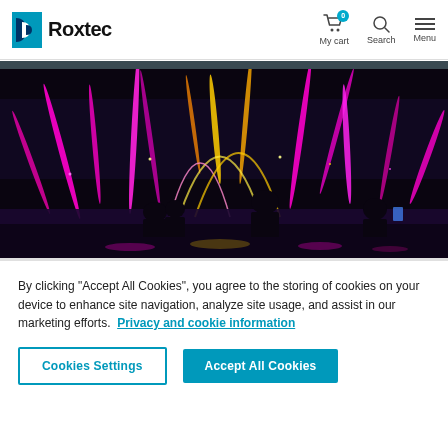Roxtec | My cart (0) | Search | Menu
[Figure (photo): Colorful illuminated fountain show at night with silhouettes of spectators watching pink, purple, and yellow water jets]
By clicking “Accept All Cookies”, you agree to the storing of cookies on your device to enhance site navigation, analyze site usage, and assist in our marketing efforts. Privacy and cookie information
Cookies Settings | Accept All Cookies